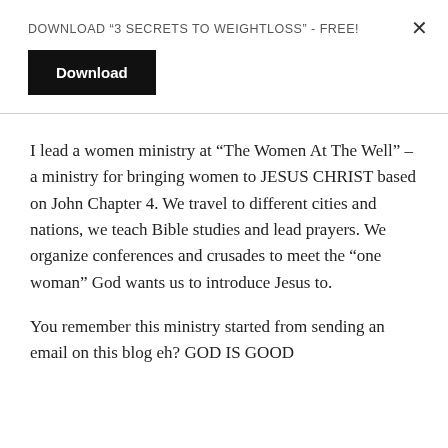DOWNLOAD “3 SECRETS TO WEIGHTLOSS” - FREE!
Download
I lead a women ministry at “The Women At The Well” – a ministry for bringing women to JESUS CHRIST based on John Chapter 4. We travel to different cities and nations, we teach Bible studies and lead prayers. We organize conferences and crusades to meet the “one woman” God wants us to introduce Jesus to.
You remember this ministry started from sending an email on this blog eh? GOD IS GOOD